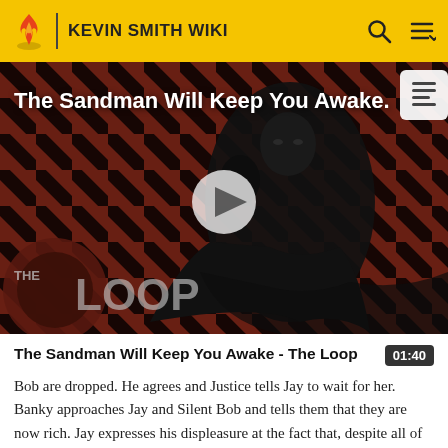KEVIN SMITH WIKI
[Figure (screenshot): Video thumbnail showing The Sandman character in black costume against a red diagonal striped background, with The Loop logo in the lower left, a play button in the center, and the title 'The Sandman Will Keep You Awake' in white text at the top.]
The Sandman Will Keep You Awake - The Loop
Bob are dropped. He agrees and Justice tells Jay to wait for her. Banky approaches Jay and Silent Bob and tells them that they are now rich. Jay expresses his displeasure at the fact that, despite all of their efforts,